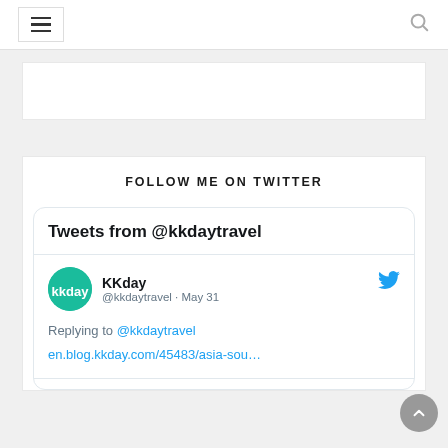[Figure (screenshot): Navigation bar with hamburger menu icon on left and search icon on right]
[Figure (screenshot): White ad banner area]
FOLLOW ME ON TWITTER
Tweets from @kkdaytravel
KKday @kkdaytravel · May 31
Replying to @kkdaytravel
en.blog.kkday.com/45483/asia-sou…